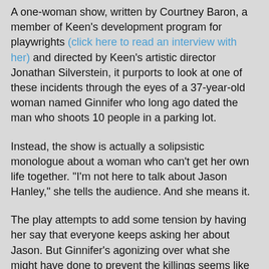A one-woman show, written by Courtney Baron, a member of Keen's development program for playwrights (click here to read an interview with her) and directed by Keen's artistic director Jonathan Silverstein, it purports to look at one of these incidents through the eyes of a 37-year-old woman named Ginnifer who long ago dated the man who shoots 10 people in a parking lot.
Instead, the show is actually a solipsistic monologue about a woman who can't get her own life together. "I'm not here to talk about Jason Hanley," she tells the audience. And she means it.
The play attempts to add some tension by having her say that everyone keeps asking her about Jason. But Ginnifer's agonizing over what she might have done to prevent the killings seems like a neurotic attempt to push her way into the spotlight that surrounds the traumatic event.
Even that might have made a good story about the obsession society has with fame of any ilk but Baron undercuts it with ramblings about Ginnefer's dying mother